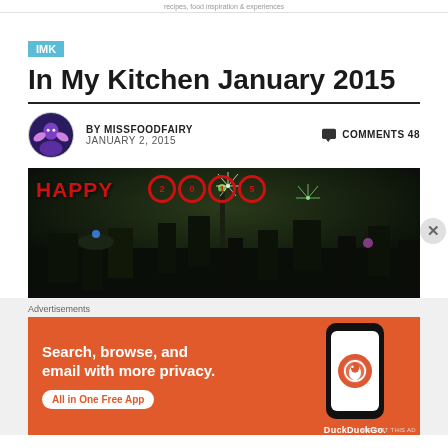recipes, food inspiration & experiences
[Figure (logo): IMK badge - light blue rectangle with white text IMK]
In My Kitchen January 2015
BY MISSFOODFAIRY   JANUARY 2, 2015   COMMENTS 48
[Figure (photo): New Year fireworks over city skyline at night with HAPPY 2015 text overlay in red]
[Figure (screenshot): DuckDuckGo advertisement: Search, browse, and email with more privacy. All in One Free App]